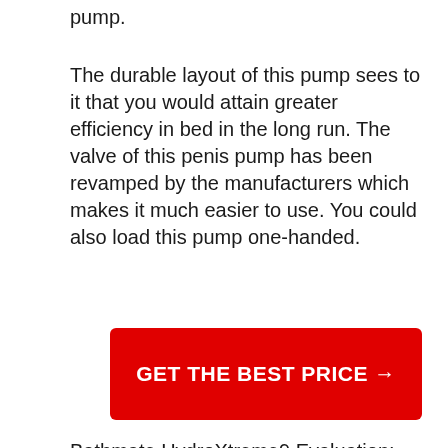pump.
The durable layout of this pump sees to it that you would attain greater efficiency in bed in the long run. The valve of this penis pump has been revamped by the manufacturers which makes it much easier to use. You could also load this pump one-handed.
GET THE BEST PRICE →
Bathmate HydroXtreme9 Evaluation: Usage Story.
My friend learnt about this penis pump from among the net website. This happened to